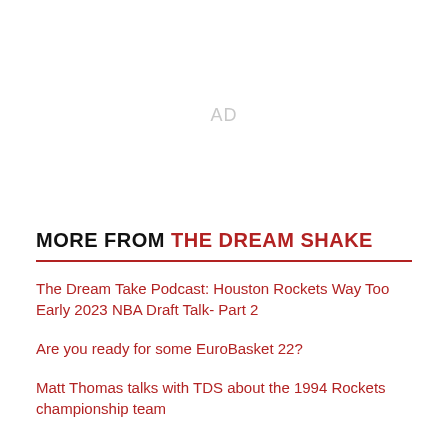[Figure (other): AD placeholder — advertisement area, light gray text 'AD' centered in white space]
MORE FROM THE DREAM SHAKE
The Dream Take Podcast: Houston Rockets Way Too Early 2023 NBA Draft Talk- Part 2
Are you ready for some EuroBasket 22?
Matt Thomas talks with TDS about the 1994 Rockets championship team